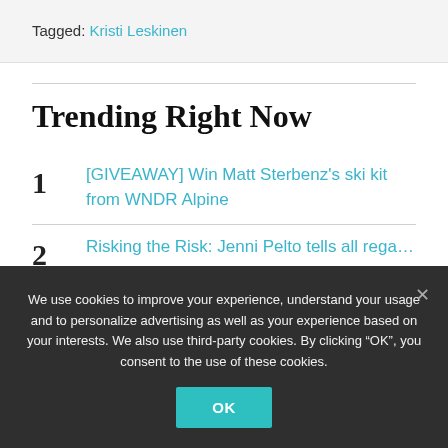Tagged: Kristi Leskinen
Trending Right Now
1 [GIVEAWAY] Win Matt Sterbenz's ski kit from WNDR Alpine
2 Risking the Risk: Jenni Peltotells all regarding her...
We use cookies to improve your experience, understand your usage and to personalize advertising as well as your experience based on your interests. We also use third-party cookies. By clicking “OK”, you consent to the use of these cookies.